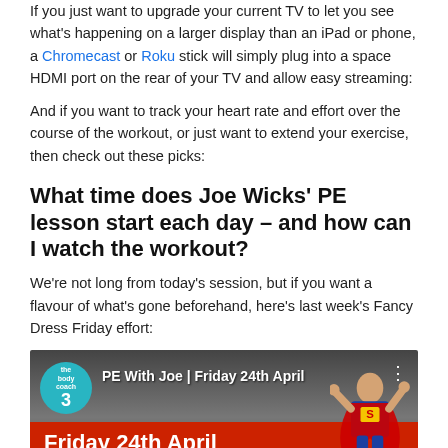If you just want to upgrade your current TV to let you see what's happening on a larger display than an iPad or phone, a Chromecast or Roku stick will simply plug into a space HDMI port on the rear of your TV and allow easy streaming:
And if you want to track your heart rate and effort over the course of the workout, or just want to extend your exercise, then check out these picks:
What time does Joe Wicks' PE lesson start each day – and how can I watch the workout?
We're not long from today's session, but if you want a flavour of what's gone beforehand, here's last week's Fancy Dress Friday effort:
[Figure (screenshot): YouTube video thumbnail for 'PE With Joe | Friday 24th April' showing Joe Wicks dressed as Superman with a red cape, a teal circular 'the body coach' logo in top left, the title text overlaid, and a red banner at the bottom reading 'Friday 24th April'.]